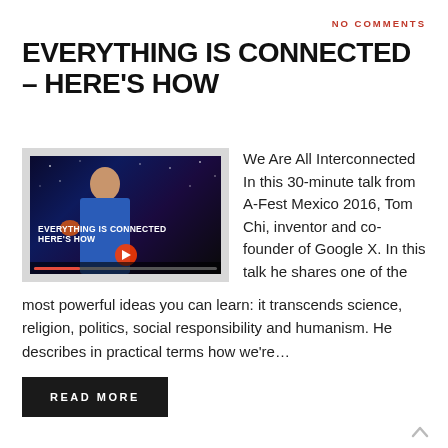NO COMMENTS
EVERYTHING IS CONNECTED – HERE'S HOW
[Figure (screenshot): Video thumbnail showing a man in a blue shirt on a dark starry background with text overlay reading 'EVERYTHING IS CONNECTED HERE'S HOW' and a red play button]
We Are All Interconnected In this 30-minute talk from A-Fest Mexico 2016, Tom Chi, inventor and co-founder of Google X. In this talk he shares one of the most powerful ideas you can learn: it transcends science, religion, politics, social responsibility and humanism. He describes in practical terms how we're…
READ MORE